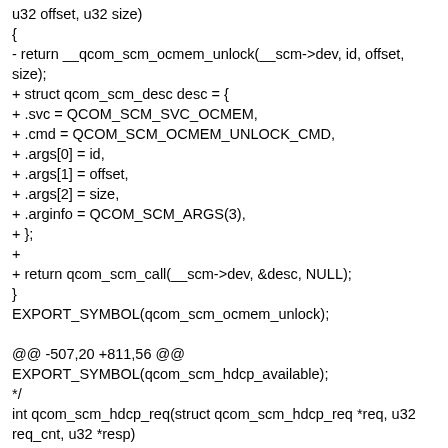u32 offset, u32 size)
{
- return __qcom_scm_ocmem_unlock(__scm->dev, id, offset, size);
+ struct qcom_scm_desc desc = {
+ .svc = QCOM_SCM_SVC_OCMEM,
+ .cmd = QCOM_SCM_OCMEM_UNLOCK_CMD,
+ .args[0] = id,
+ .args[1] = offset,
+ .args[2] = size,
+ .arginfo = QCOM_SCM_ARGS(3),
+ };
+
+ return qcom_scm_call(__scm->dev, &desc, NULL);
}
EXPORT_SYMBOL(qcom_scm_ocmem_unlock);

@@ -507,20 +811,56 @@
EXPORT_SYMBOL(qcom_scm_hdcp_available);
*/
int qcom_scm_hdcp_req(struct qcom_scm_hdcp_req *req, u32 req_cnt, u32 *resp)
{
- int ret = qcom_scm_clk_enable();
+ int ret;
+ struct qcom_scm_desc desc = {